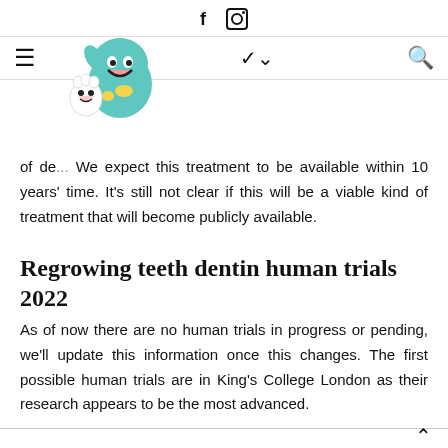f [instagram icon] [hamburger menu] [logo] [chevron] [search]
of de... We expect this treatment to be available within 10 years' time. It's still not clear if this will be a viable kind of treatment that will become publicly available.
Regrowing teeth dentin human trials 2022
As of now there are no human trials in progress or pending, we'll update this information once this changes. The first possible human trials are in King's College London as their research appears to be the most advanced.
Pulp regeneration 2022 – can